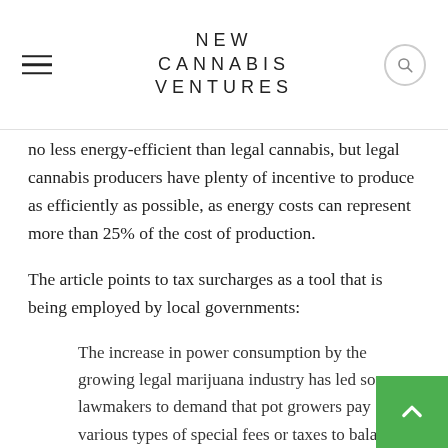NEW CANNABIS VENTURES
no less energy-efficient than legal cannabis, but legal cannabis producers have plenty of incentive to produce as efficiently as possible, as energy costs can represent more than 25% of the cost of production.
The article points to tax surcharges as a tool that is being employed by local governments:
The increase in power consumption by the growing legal marijuana industry has led some lawmakers to demand that pot growers pay various types of special fees or taxes to balance the strain their high-consuming ways